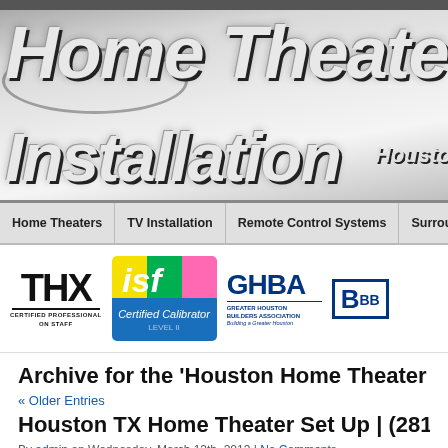[Figure (logo): Home Theater Installation Houston TX website logo banner with large italic text]
Home Theaters | TV Installation | Remote Control Systems | Surround S...
[Figure (logo): Certification logos strip: THX Certified Professional on Staff, ISF Certified Calibrator, GHBA Greater Houston Builders Association, BBB]
Archive for the ‘Houston Home Ins…
« Older Entries
Houston TX Home Theater Set Up | (281) 6…
By admin on Wednesday, March 13th, 2013 | No Comments